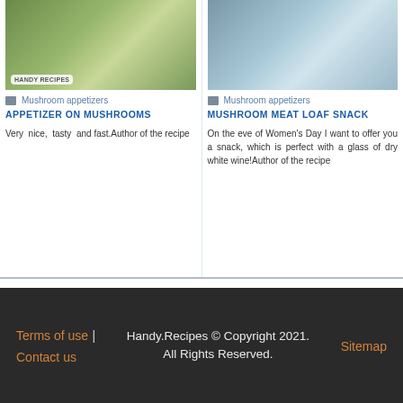[Figure (photo): Food photo showing mushroom appetizers arranged on a plate with greenery and red peppers, with a Handy Recipes logo badge]
Mushroom appetizers
APPETIZER ON MUSHROOMS
Very nice, tasty and fast.Author of the recipe
[Figure (photo): Food photo showing a mushroom meat loaf snack with lemon slices and herbs on a plate]
Mushroom appetizers
MUSHROOM MEAT LOAF SNACK
On the eve of Women's Day I want to offer you a snack, which is perfect with a glass of dry white wine!Author of the recipe
Terms of use | Contact us    Handy.Recipes © Copyright 2021. All Rights Reserved.    Sitemap